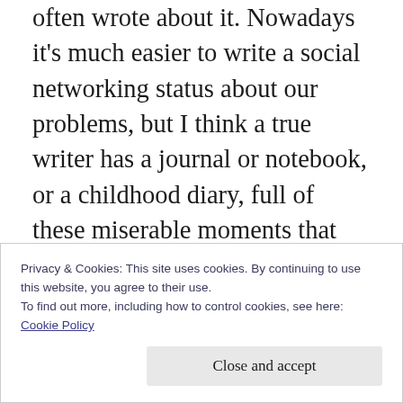often wrote about it. Nowadays it's much easier to write a social networking status about our problems, but I think a true writer has a journal or notebook, or a childhood diary, full of these miserable moments that alternate between explaining the situation in full and beautiful prose describing the feelings over the event. Reaching for that notebook and pen when you were depressed and alone was like reaching for your only friend, and you felt release when the words were down. You won't find the same
Privacy & Cookies: This site uses cookies. By continuing to use this website, you agree to their use.
To find out more, including how to control cookies, see here:
Cookie Policy
Close and accept